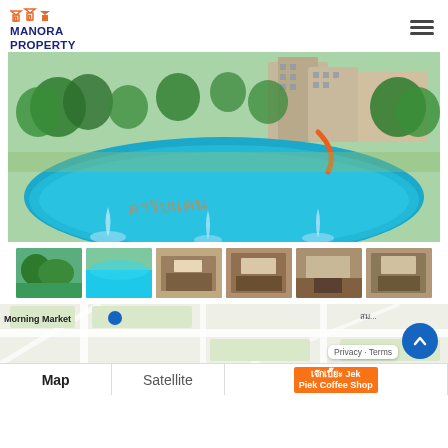MANORA PROPERTY
[Figure (photo): Large swimming pool with turquoise water, water features/fountains in foreground, residential apartment buildings and lush green trees in background. Thai text visible on pool floor.]
[Figure (photo): Thumbnail 1: Pool area with greenery]
[Figure (photo): Thumbnail 2: Swimming pool close-up]
[Figure (photo): Thumbnail 3: Interior bedroom/living area]
[Figure (photo): Thumbnail 4: Interior room]
[Figure (photo): Thumbnail 5: Interior bedroom]
[Figure (photo): Thumbnail 6: Interior room]
[Figure (map): Google Maps view showing Morning Market area with Map/Satellite toggle and Jek Piek Coffee Shop POI label]
Morning Market
Map  |  Satellite  |  เจ๊กเปี๊ยะ Jek Piek Coffee Shop  |  Privacy · Terms